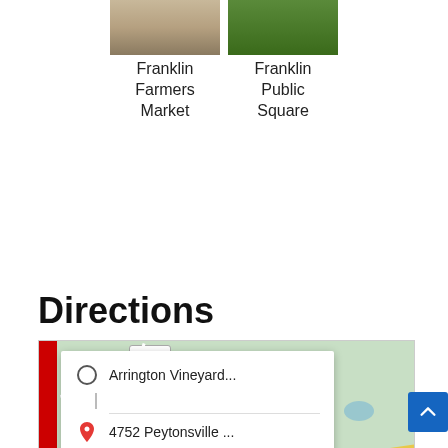[Figure (photo): Thumbnail image of Franklin Farmers Market]
Franklin Farmers Market
[Figure (photo): Thumbnail image of Franklin Public Square]
Franklin Public Square
Directions
[Figure (map): Google Maps showing directions from Arrington Vineyard to 4752 Peytonsville with a popup showing route options and More options link. Map shows Arrington area with road 252.]